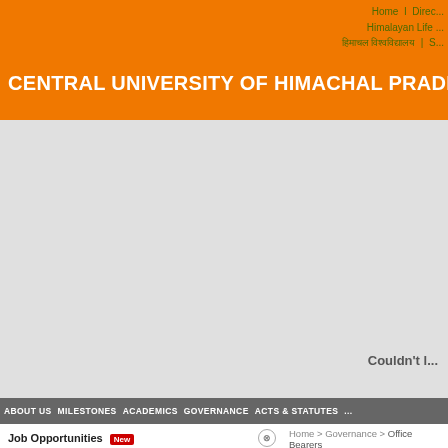Home I Direct... Himalayan Life ... हिमाचल विश्वविद्यालय | S...
CENTRAL UNIVERSITY OF HIMACHAL PRADE...
[Figure (screenshot): Grey banner/image area with 'Couldn't l...' text]
ABOUT US   MILESTONES   ACADEMICS   GOVERNANCE   ACTS & STATUTES   ...
Job Opportunities New
Schools of Studies
Officers of the University
Ph.D. Admission
Research & Publications
Home > Governance > Office Bearers
Officers of the University
| Officers of the University |
| --- |
| Chancellor |